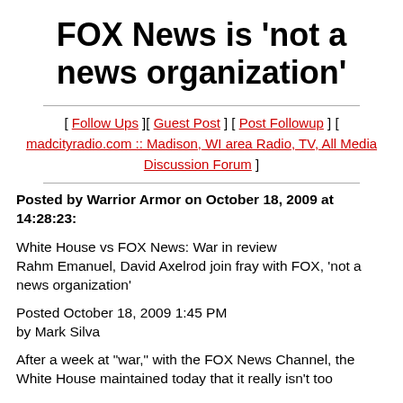FOX News is 'not a news organization'
[ Follow Ups ][ Guest Post ] [ Post Followup ] [ madcityradio.com :: Madison, WI area Radio, TV, All Media Discussion Forum ]
Posted by Warrior Armor on October 18, 2009 at 14:28:23:
White House vs FOX News: War in review
Rahm Emanuel, David Axelrod join fray with FOX, 'not a news organization'

Posted October 18, 2009 1:45 PM
by Mark Silva
After a week at "war," with the FOX News Channel, the White House maintained today that it really isn't too concerned about the FOX news channel and its bias...